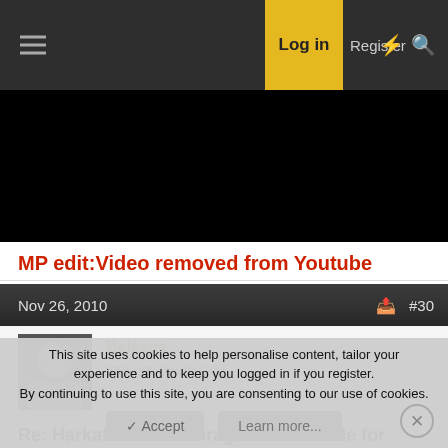Log in  Register
[Figure (screenshot): Black video player area - video removed]
MP edit:Video removed from Youtube
Nov 26, 2010  #30
[Figure (photo): Forum user avatar photo of Belexes - black and white photo of person]
Belexes
Internet Tough Guy
Re: Harkat's Official Dragonforce Guide for Musical Wet Dreams!!
This site uses cookies to help personalise content, tailor your experience and to keep you logged in if you register.
By continuing to use this site, you are consenting to our use of cookies.